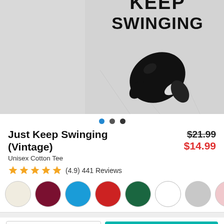[Figure (photo): Product photo of a gray t-shirt with text 'KEEP SWINGING' and a black boxing glove graphic on the front]
Just Keep Swinging (Vintage)
Unisex Cotton Tee
$21.99 $14.99
(4.9) 441 Reviews
[Figure (infographic): Color swatches: cream/beige, dark red/maroon, blue, red, dark green, white, gray/heather, pink, blue (partial)]